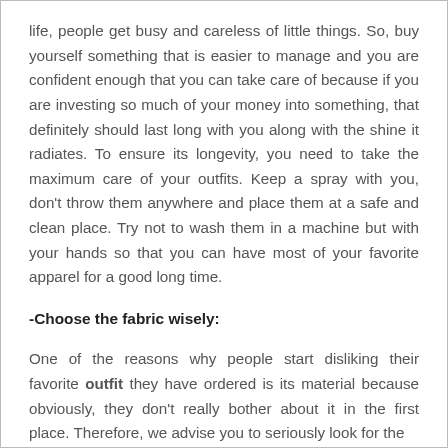life, people get busy and careless of little things. So, buy yourself something that is easier to manage and you are confident enough that you can take care of because if you are investing so much of your money into something, that definitely should last long with you along with the shine it radiates. To ensure its longevity, you need to take the maximum care of your outfits. Keep a spray with you, don't throw them anywhere and place them at a safe and clean place. Try not to wash them in a machine but with your hands so that you can have most of your favorite apparel for a good long time.
-Choose the fabric wisely:
One of the reasons why people start disliking their favorite outfit they have ordered is its material because obviously, they don't really bother about it in the first place. Therefore, we advise you to seriously look for the